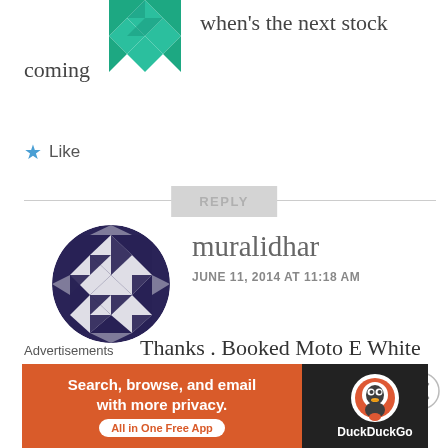[Figure (logo): Green geometric/quilt-pattern avatar (partial, cropped at top)]
when's the next stock coming
Like
REPLY
[Figure (illustration): Circular avatar with black and white diamond/geometric quilt pattern]
muralidhar
JUNE 11, 2014 AT 11:18 AM
Thanks . Booked Moto E White
[Figure (logo): DuckDuckGo advertisement banner: Search, browse, and email with more privacy. All in One Free App. DuckDuckGo logo.]